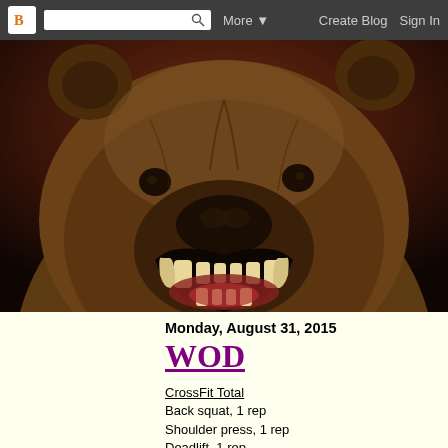Blogger navbar with logo, search box, More, Create Blog, Sign In
[Figure (photo): Close-up photo of a roaring grizzly bear with open mouth showing teeth, dark reddish-brown background]
Monday, August 31, 2015
WOD
CrossFit Total
Back squat, 1 rep
Shoulder press, 1 rep
Deadlift, 1 rep
Post total to comments.